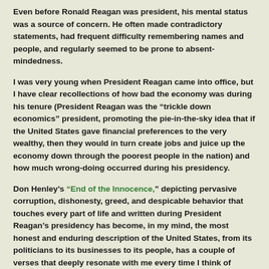Even before Ronald Reagan was president, his mental status was a source of concern. He often made contradictory statements, had frequent difficulty remembering names and people, and regularly seemed to be prone to absent-mindedness.
I was very young when President Reagan came into office, but I have clear recollections of how bad the economy was during his tenure (President Reagan was the “trickle down economics” president, promoting the pie-in-the-sky idea that if the United States gave financial preferences to the very wealthy, then they would in turn create jobs and juice up the economy down through the poorest people in the nation) and how much wrong-doing occurred during his presidency.
Don Henley’s “End of the Innocence,” depicting pervasive corruption, dishonesty, greed, and despicable behavior that touches every part of life and written during President Reagan’s presidency has become, in my mind, the most honest and enduring description of the United States, from its politicians to its businesses to its people, has a couple of verses that deeply resonate with me every time I think of President Reagan’s years